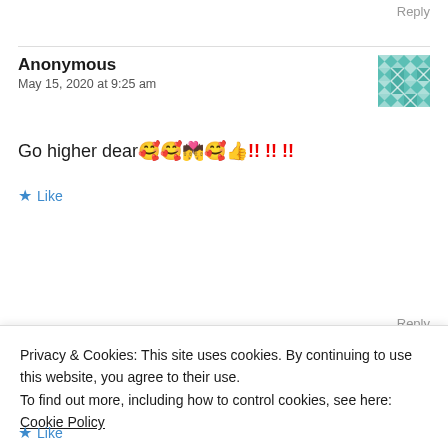Reply
Anonymous
May 15, 2020 at 9:25 am
Go higher dear🥰🥰💏🥰👍!! !! !!
★ Like
Reply
Privacy & Cookies: This site uses cookies. By continuing to use this website, you agree to their use.
To find out more, including how to control cookies, see here:
Cookie Policy
Close and accept
★ Like